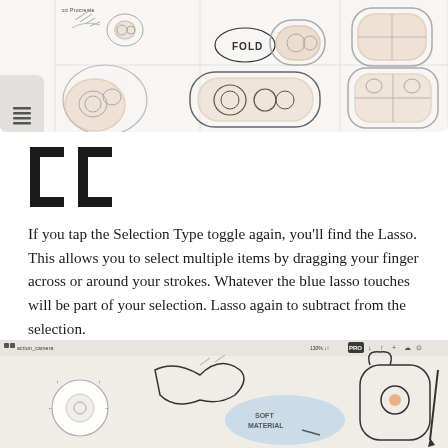[Figure (screenshot): Procreate app screenshot showing design sketches of product concepts (rounded device shapes) on a white canvas with a grid layout. A sidebar with list icon is visible on the left.]
[Figure (illustration): Lasso tool icon — two large stylized square bracket-like characters side by side representing the Lasso selection type toggle in Procreate]
If you tap the Selection Type toggle again, you'll find the Lasso. This allows you to select multiple items by dragging your finger across or around your strokes. Whatever the blue lasso touches will be part of your selection. Lasso again to subtract from the selection.
[Figure (screenshot): Procreate app screenshot showing design sketches with lasso selection. Sketches include product shapes, a blue soft-material blob annotation, and pen/stylus illustrations. Top toolbar shows 'action_camera' and PRO options.]